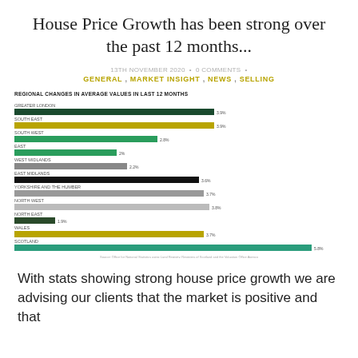House Price Growth has been strong over the past 12 months...
13TH NOVEMBER 2020 • 0 COMMENTS •
GENERAL , MARKET INSIGHT , NEWS , SELLING
[Figure (bar-chart): REGIONAL CHANGES IN AVERAGE VALUES IN LAST 12 MONTHS]
With stats showing strong house price growth we are advising our clients that the market is positive and that